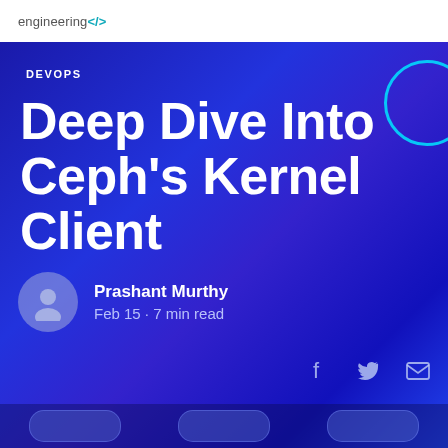engineering</>
DEVOPS
Deep Dive Into Ceph's Kernel Client
Prashant Murthy
Feb 15 · 7 min read